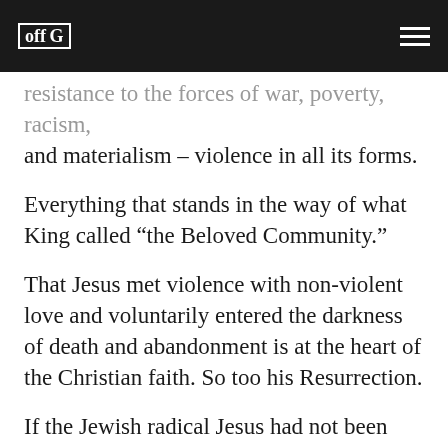off G [logo] [hamburger menu]
resistance to the forces of war, poverty, racism, and materialism – violence in all its forms.
Everything that stands in the way of what King called “the Beloved Community.”
That Jesus met violence with non-violent love and voluntarily entered the darkness of death and abandonment is at the heart of the Christian faith. So too his Resurrection.
If the Jewish radical Jesus had not been executed by the Roman state occupiers of Palestine, if all hope for his followers had not